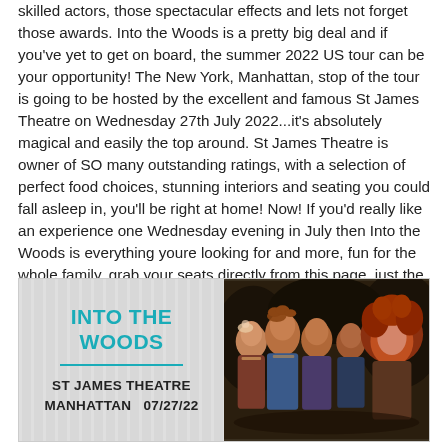skilled actors, those spectacular effects and lets not forget those awards. Into the Woods is a pretty big deal and if you've yet to get on board, the summer 2022 US tour can be your opportunity! The New York, Manhattan, stop of the tour is going to be hosted by the excellent and famous St James Theatre on Wednesday 27th July 2022...it's absolutely magical and easily the top around. St James Theatre is owner of SO many outstanding ratings, with a selection of perfect food choices, stunning interiors and seating you could fall asleep in, you'll be right at home! Now! If you'd really like an experience one Wednesday evening in July then Into the Woods is everything youre looking for and more, fun for the whole family, grab your seats directly from this page, just the 'GET TICKETS' button just above...BOOK YOURS NOW!
[Figure (infographic): Promotional event card for 'Into the Woods' at St James Theatre, Manhattan on 07/27/22. Left half is grey with vertical stripe texture showing teal title 'INTO THE WOODS', a teal horizontal divider, and bold black text 'ST JAMES THEATRE / MANHATTAN 07/27/22'. Right half shows a photo of costumed theatre cast members.]